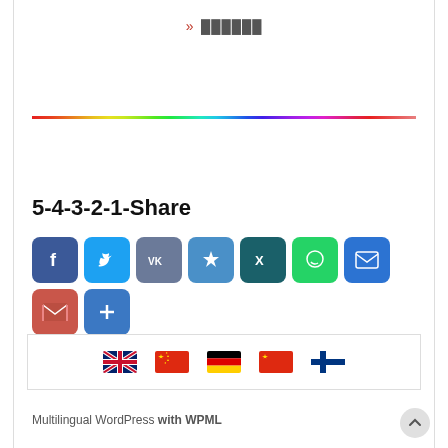» ██████
[Figure (infographic): Rainbow-colored horizontal divider line]
5-4-3-2-1-Share
[Figure (infographic): Social sharing icons: Facebook, Twitter, VK, Odnoklassniki, XING, WhatsApp, Email, Gmail, plus/more button]
[Figure (infographic): Language selector bar with flags: UK/English, China/Chinese, Germany/German, China/Chinese, Finland/Finnish]
Multilingual WordPress with WPML